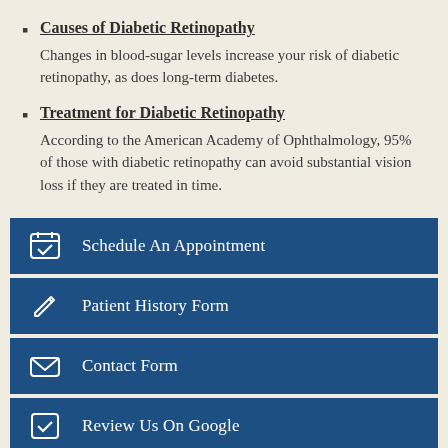Causes of Diabetic Retinopathy
Changes in blood-sugar levels increase your risk of diabetic retinopathy, as does long-term diabetes.
Treatment for Diabetic Retinopathy
According to the American Academy of Ophthalmology, 95% of those with diabetic retinopathy can avoid substantial vision loss if they are treated in time.
[Figure (infographic): Four dark blue navigation buttons: Schedule An Appointment (calendar/checkbox icon), Patient History Form (pencil icon), Contact Form (envelope icon), Review Us On Google (checkbox icon)]